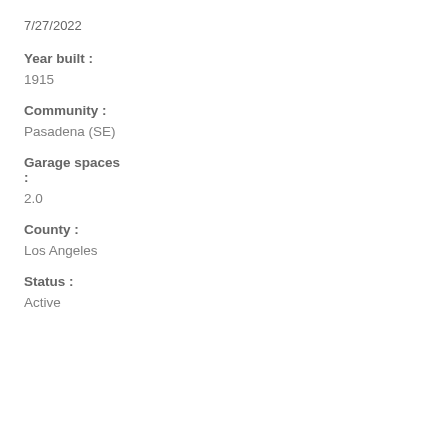7/27/2022
Year built :
1915
Community :
Pasadena (SE)
Garage spaces :
2.0
County :
Los Angeles
Status :
Active